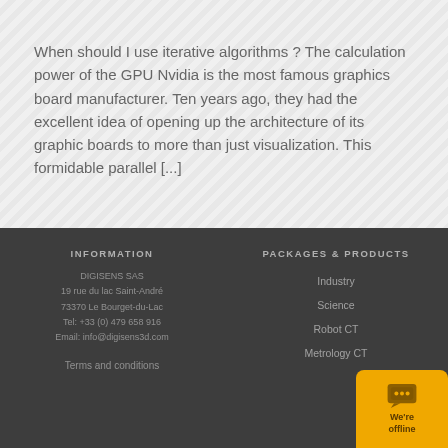When should I use iterative algorithms ? The calculation power of the GPU Nvidia is the most famous graphics board manufacturer. Ten years ago, they had the excellent idea of opening up the architecture of its graphic boards to more than just visualization. This formidable parallel [...]
INFORMATION
DIGISENS SAS
19 rue du lac Saint-André
73370 Le Bourget-du-Lac
Tel: +33 (0) 479 658 916
Email: info@digisens3d.com
Terms and conditions

PACKAGES & PRODUCTS
Industry
Science
Robot CT
Metrology CT